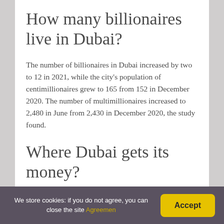How many billionaires live in Dubai?
The number of billionaires in Dubai increased by two to 12 in 2021, while the city's population of centimillionaires grew to 165 from 152 in December 2020. The number of multimillionaires increased to 2,480 in June from 2,430 in December 2020, the study found.
Where Dubai gets its money?
We store cookies: if you do not agree, you can close the site Agreemen  Accept